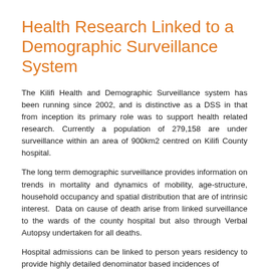Health Research Linked to a Demographic Surveillance System
The Kilifi Health and Demographic Surveillance system has been running since 2002, and is distinctive as a DSS in that from inception its primary role was to support health related research. Currently a population of 279,158 are under surveillance within an area of 900km2 centred on Kilifi County hospital.
The long term demographic surveillance provides information on trends in mortality and dynamics of mobility, age-structure, household occupancy and spatial distribution that are of intrinsic interest. Data on cause of death arise from linked surveillance to the wards of the county hospital but also through Verbal Autopsy undertaken for all deaths.
Hospital admissions can be linked to person years residency to provide highly detailed denominator based incidences of